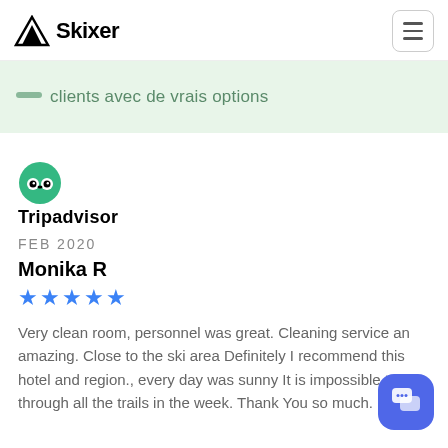Skixer
clients avec de vrais options
[Figure (logo): Tripadvisor logo with owl icon]
FEB 2020
Monika R
[Figure (other): Five blue star rating]
Very clean room, personnel was great. Cleaning service an amazing. Close to the ski area Definitely I recommend this hotel and region., every day was sunny It is impossible to get through all the trails in the week. Thank You so much.